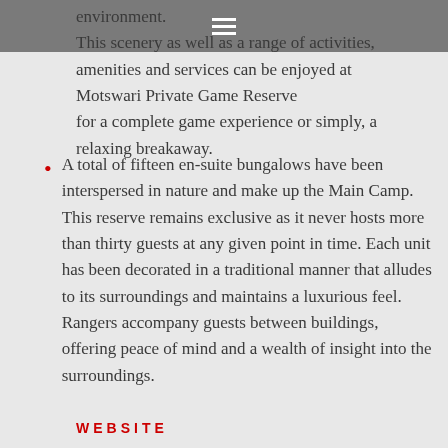environment.
This scenery as well as a range of activities, amenities and services can be enjoyed at Motswari Private Game Reserve for a complete game experience or simply, a relaxing breakaway.
A total of fifteen en-suite bungalows have been interspersed in nature and make up the Main Camp. This reserve remains exclusive as it never hosts more than thirty guests at any given point in time. Each unit has been decorated in a traditional manner that alludes to its surroundings and maintains a luxurious feel. Rangers accompany guests between buildings, offering peace of mind and a wealth of insight into the surroundings.
WEBSITE